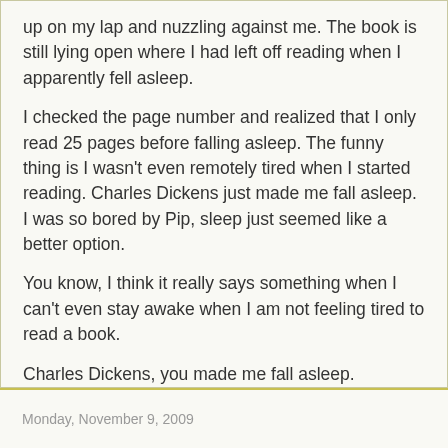up on my lap and nuzzling against me. The book is still lying open where I had left off reading when I apparently fell asleep.
I checked the page number and realized that I only read 25 pages before falling asleep. The funny thing is I wasn't even remotely tired when I started reading. Charles Dickens just made me fall asleep. I was so bored by Pip, sleep just seemed like a better option.
You know, I think it really says something when I can't even stay awake when I am not feeling tired to read a book.
Charles Dickens, you made me fall asleep.
I fear I will never conquer you.
Allie at 10:00 PM    No comments:
Share
Monday, November 9, 2009